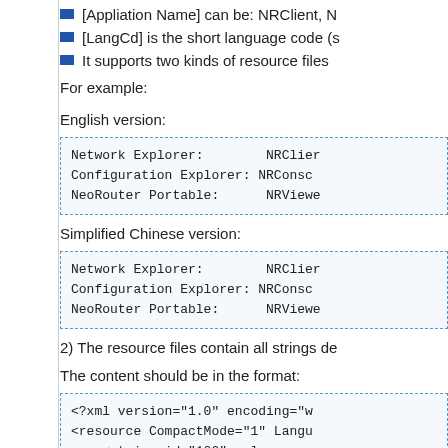[Appliation Name] can be: NRClient, N...
[LangCd] is the short language code (s...
It supports two kinds of resource files...
For example:
English version:
[Figure (screenshot): Code box showing English version: Network Explorer: NRClien..., Configuration Explorer: NRConsc..., NeoRouter Portable: NRViewe...]
Simplified Chinese version:
[Figure (screenshot): Code box showing Simplified Chinese version: Network Explorer: NRClien..., Configuration Explorer: NRConsc..., NeoRouter Portable: NRViewe...]
2) The resource files contain all strings de...
The content should be in the format:
[Figure (screenshot): Code box showing XML format: <?xml version="1.0" encoding="w..., <resource CompactMode="1" Langu..., <string id="100" value=...]